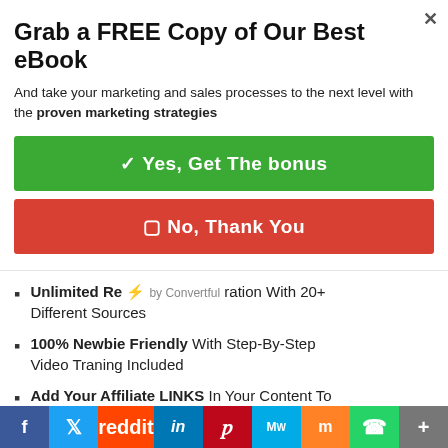Grab a FREE Copy of Our Best eBook
And take your marketing and sales processes to the next level with the proven marketing strategies
✓ Yes, Get The bonus
✗ No, Thank You
Unlimited Re⚡by Convertful ration With 20+ Different Sources
100% Newbie Friendly With Step-By-Step Video Traning Included
Add Your Affiliate LINKS In Your Content To Boost Monetization
Unlimited Real Content Generation With 20+